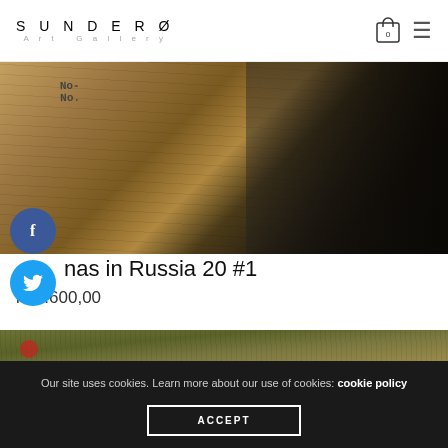SUNDERØ Art Gallery
[Figure (photo): Close-up photo of wooden boards, scribbled markings, and plant stems in an artistic setting]
...nas in Russia 20 #1
kr 5.600,00
[Figure (photo): Outdoor photo of dry grass, twigs, and small yellow wildflowers]
Our site uses cookies. Learn more about our use of cookies: cookie policy
ACCEPT